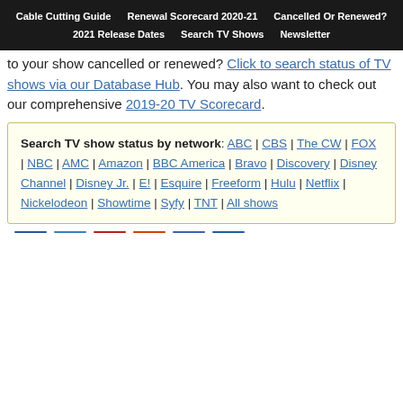Cable Cutting Guide | Renewal Scorecard 2020-21 | Cancelled Or Renewed? | 2021 Release Dates | Search TV Shows | Newsletter
to your show cancelled or renewed? Click to search status of TV shows via our Database Hub. You may also want to check out our comprehensive 2019-20 TV Scorecard.
Search TV show status by network: ABC | CBS | The CW | FOX | NBC | AMC | Amazon | BBC America | Bravo | Discovery | Disney Channel | Disney Jr. | E! | Esquire | Freeform | Hulu | Netflix | Nickelodeon | Showtime | Syfy | TNT | All shows